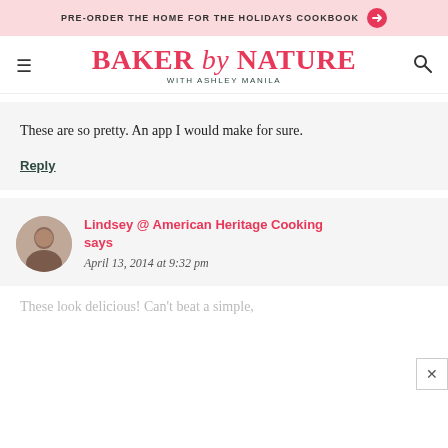PRE-ORDER THE HOME FOR THE HOLIDAYS COOKBOOK →
[Figure (logo): Baker by Nature logo with text 'BAKER by NATURE' in pink/red and 'WITH ASHLEY MANILA' below in dark teal]
These are so pretty. An app I would make for sure.
Reply
Lindsey @ American Heritage Cooking says
April 13, 2014 at 9:32 pm
These look delicious! Can't beat a simple,